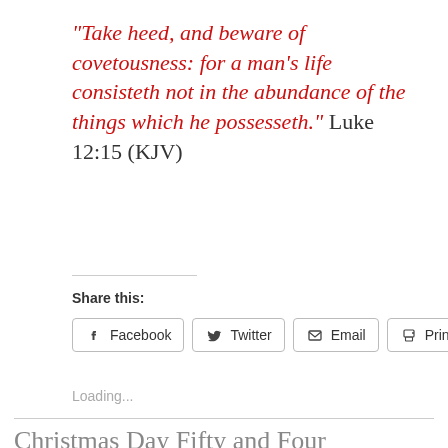“Take heed, and beware of covetousness: for a man’s life consisteth not in the abundance of the things which he possesseth.” Luke 12:15 (KJV)
Share this:
[Figure (other): Social sharing buttons: Facebook, Twitter, Email, Print]
Loading...
Christmas Day Fifty and Four